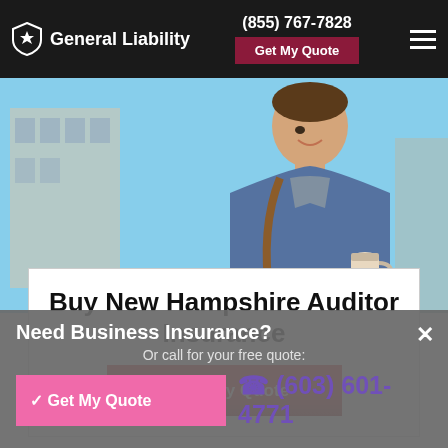General Liability | (855) 767-7828 | Get My Quote
[Figure (photo): Hero image of a smiling man in a blue jacket carrying a coffee cup outdoors with buildings in background]
Buy New Hampshire Auditor Insurance
Get My Quote (button)
Need Business Insurance?
Or call for your free quote:
✓ Get My Quote
☎ (603) 601-4771